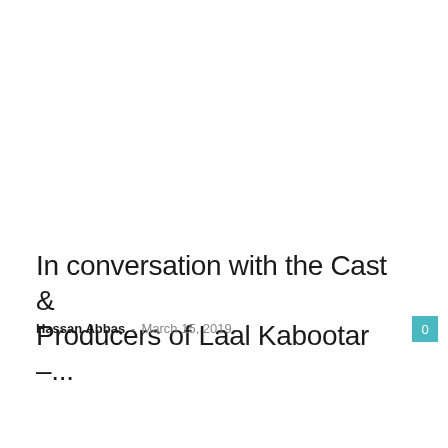In conversation with the Cast & Producers of Laal Kabootar –...
Hassan Abbas – March 15, 2019